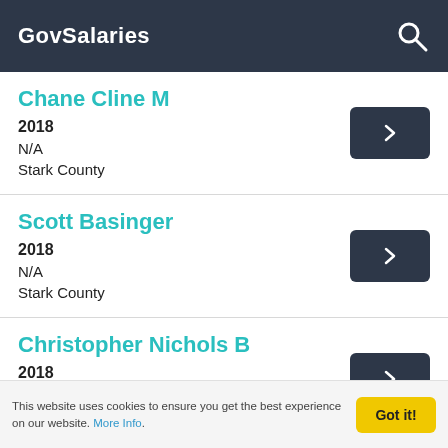GovSalaries
Chane Cline M
2018
N/A
Stark County
Scott Basinger
2018
N/A
Stark County
Christopher Nichols B
2018
N/A
Stark County
This website uses cookies to ensure you get the best experience on our website. More Info.